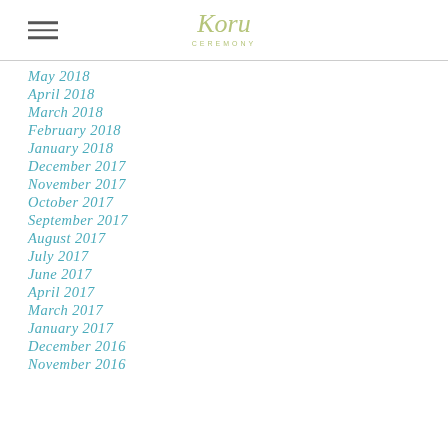Koru Ceremony
May 2018
April 2018
March 2018
February 2018
January 2018
December 2017
November 2017
October 2017
September 2017
August 2017
July 2017
June 2017
April 2017
March 2017
January 2017
December 2016
November 2016